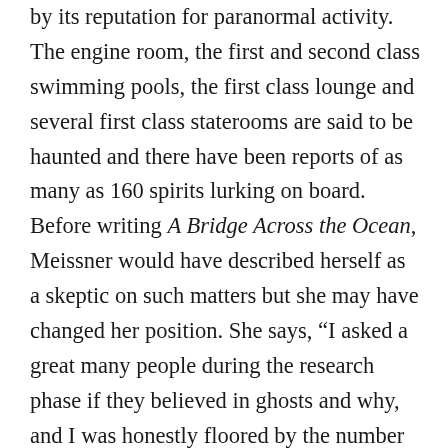by its reputation for paranormal activity. The engine room, the first and second class swimming pools, the first class lounge and several first class staterooms are said to be haunted and there have been reports of as many as 160 spirits lurking on board. Before writing A Bridge Across the Ocean, Meissner would have described herself as a skeptic on such matters but she may have changed her position. She says, “I asked a great many people during the research phase if they believed in ghosts and why, and I was honestly floored by the number of responses I got from highly intellectual, grounded people who had experienced something ghostly that had no explanation.… When I was interviewing the commodore of the Queen Mary, I asked him what he thought of all the reports of ghost sightings aboard the Queen and the ghost tours that the ship offers to those who are brave.” Well,” he said to